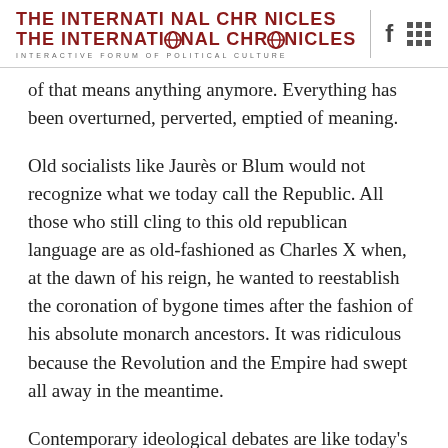THE INTERNATIONAL CHRONICLES
INTERACTIVE FORUM OF POLITICAL CULTURE
of that means anything anymore. Everything has been overturned, perverted, emptied of meaning.
Old socialists like Jaurès or Blum would not recognize what we today call the Republic. All those who still cling to this old republican language are as old-fashioned as Charles X when, at the dawn of his reign, he wanted to reestablish the coronation of bygone times after the fashion of his absolute monarch ancestors. It was ridiculous because the Revolution and the Empire had swept all away in the meantime.
Contemporary ideological debates are like today's songs: covers of hits from the eighties. Secularism